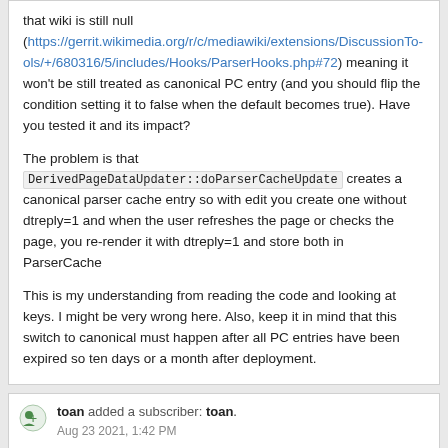that wiki is still null (https://gerrit.wikimedia.org/r/c/mediawiki/extensions/DiscussionTools/+/680316/5/includes/Hooks/ParserHooks.php#72) meaning it won't be still treated as canonical PC entry (and you should flip the condition setting it to false when the default becomes true). Have you tested it and its impact?

The problem is that DerivedPageDataUpdater::doParserCacheUpdate creates a canonical parser cache entry so with edit you create one without dtreply=1 and when the user refreshes the page or checks the page, you re-render it with dtreply=1 and store both in ParserCache

This is my understanding from reading the code and looking at keys. I might be very wrong here. Also, keep it in mind that this switch to canonical must happen after all PC entries have been expired so ten days or a month after deployment.
toan added a subscriber: toan. Aug 23 2021, 1:42 PM
matmarex added a comment.